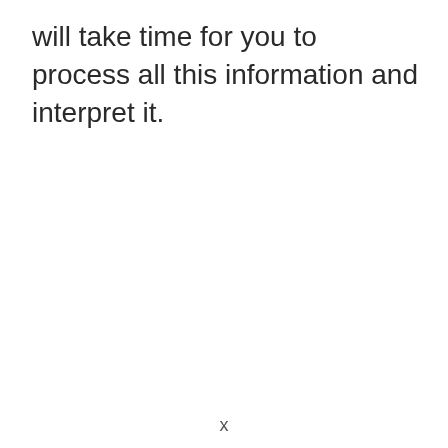will take time for you to process all this information and interpret it.
x